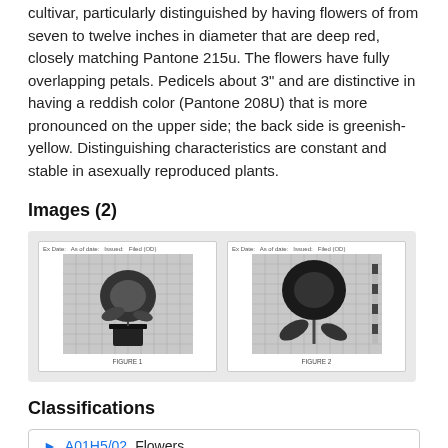cultivar, particularly distinguished by having flowers of from seven to twelve inches in diameter that are deep red, closely matching Pantone 215u. The flowers have fully overlapping petals. Pedicels about 3" and are distinctive in having a reddish color (Pantone 208U) that is more pronounced on the upper side; the back side is greenish-yellow. Distinguishing characteristics are constant and stable in asexually reproduced plants.
Images (2)
[Figure (photo): Two botanical specimen photographs showing a deep red flower plant (left: whole plant with pot, right: close-up of flower with stem and leaves), both on grid backgrounds with label headers and captions.]
Classifications
A01H5/02  Flowers